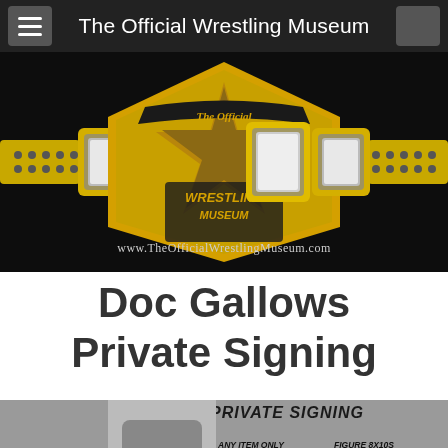The Official Wrestling Museum
[Figure (logo): Wrestling championship belt logo for The Official Wrestling Museum, gold belt with diamond plates and star emblem, website www.TheOfficialWrestlingMuseum.com]
Doc Gallows Private Signing
[Figure (infographic): Private Signing promotional flyer partially visible. Shows Doc Gallows wrestler photo, text: PRIVATE SIGNING, ANY ITEM ONLY $10 EACH, FIGURE 8X10S, TRADING CARDS, ALL ORDERS AND ITEMS ARE DUE BY, ENCYCLOPEDIAS]